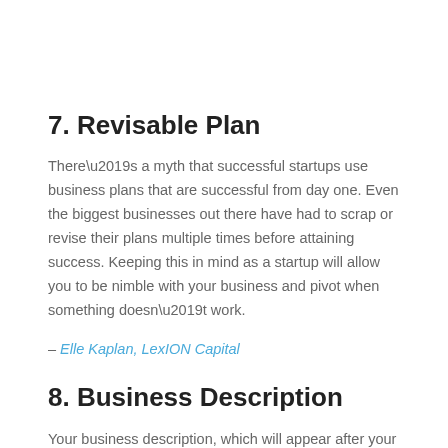7. Revisable Plan
There’s a myth that successful startups use business plans that are successful from day one. Even the biggest businesses out there have had to scrap or revise their plans multiple times before attaining success. Keeping this in mind as a startup will allow you to be nimble with your business and pivot when something doesn’t work.
– Elle Kaplan, LexION Capital
8. Business Description
Your business description, which will appear after your executive summary, is key for first-time founders. That’s where you’ll define what you’re